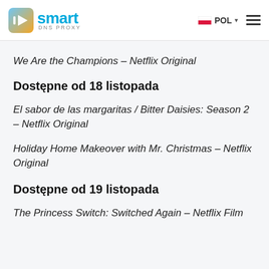Smart DNS Proxy — POL
We Are the Champions – Netflix Original
Dostępne od 18 listopada
El sabor de las margaritas / Bitter Daisies: Season 2 – Netflix Original
Holiday Home Makeover with Mr. Christmas – Netflix Original
Dostępne od 19 listopada
The Princess Switch: Switched Again – Netflix Film